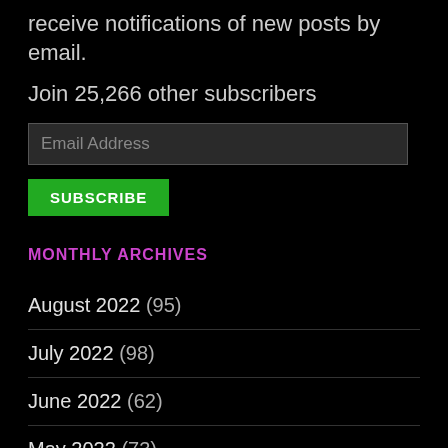receive notifications of new posts by email.
Join 25,266 other subscribers
Email Address
SUBSCRIBE
MONTHLY ARCHIVES
August 2022 (95)
July 2022 (98)
June 2022 (62)
May 2022 (73)
April 2022 (58)